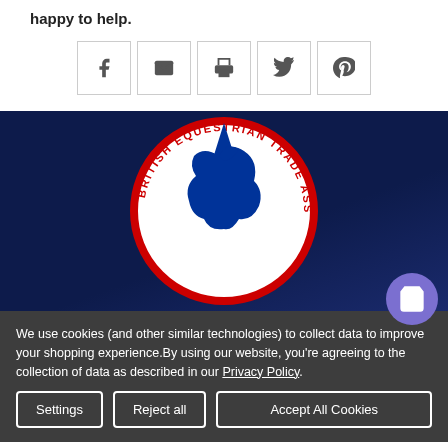happy to help.
[Figure (screenshot): Row of five social share icon buttons: Facebook, Email/envelope, Print, Twitter, Pinterest]
[Figure (logo): British Equestrian Trade Association logo on dark navy blue background — circular badge with horse head silhouette and red text around the ring]
We use cookies (and other similar technologies) to collect data to improve your shopping experience.By using our website, you're agreeing to the collection of data as described in our Privacy Policy.
Settings | Reject all | Accept All Cookies